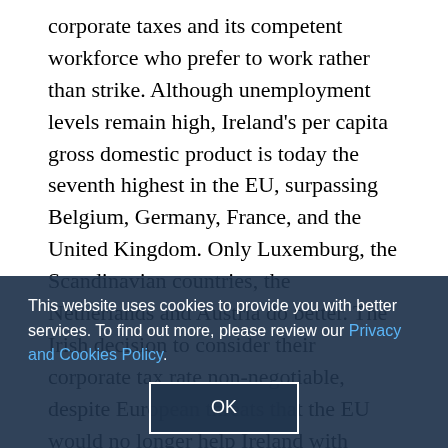corporate taxes and its competent workforce who prefer to work rather than strike. Although unemployment levels remain high, Ireland's per capita gross domestic product is today the seventh highest in the EU, surpassing Belgium, Germany, France, and the United Kingdom. Only Luxemburg, the Scandinavian countries, the Netherlands and Austria do better. The Irish decision to consider their corporate tax rate non-negotiable, despite European threats that the EU would no longer help Ireland with emergency funds, has turned out to be the right decision: Ireland no longer needs the European funds.

At the World Economic Forum in Davos last week, Enda Kenny, the Irish Prime Minister, said that Ireland could eurozone crisis. The ship has been turned around, he said. Unfortunately, however, instead of learning the lesson from the Irish examples, the leading politicians of the eurozone keep insisting on raising taxes — in
This website uses cookies to provide you with better services. To find out more, please review our Privacy and Cookies Policy.
OK